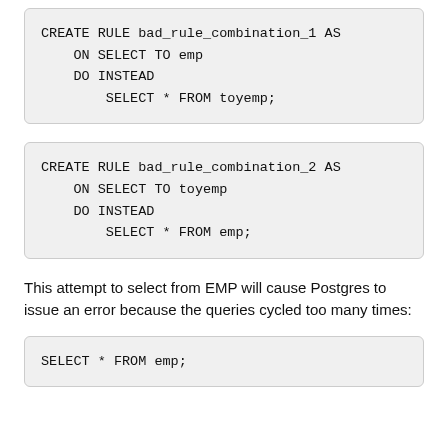CREATE RULE bad_rule_combination_1 AS
    ON SELECT TO emp
    DO INSTEAD
        SELECT * FROM toyemp;
CREATE RULE bad_rule_combination_2 AS
    ON SELECT TO toyemp
    DO INSTEAD
        SELECT * FROM emp;
This attempt to select from EMP will cause Postgres to issue an error because the queries cycled too many times:
SELECT * FROM emp;